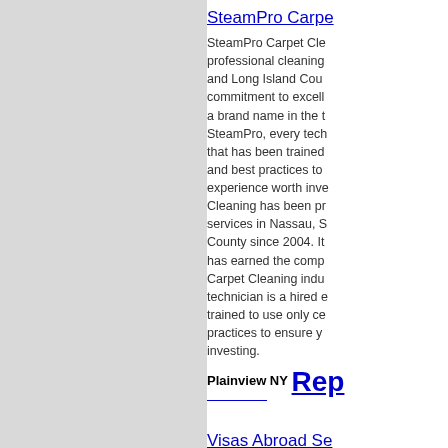SteamPro Carpe...
SteamPro Carpet Cle... professional cleaning... and Long Island Cou... commitment to excell... a brand name in the t... SteamPro, every tech... that has been trained... and best practices to ... experience worth inve... Cleaning has been pr... services in Nassau, S... County since 2004. It... has earned the comp... Carpet Cleaning indu... technician is a hired e... trained to use only ce... practices to ensure y... investing.
Plainview NY Rep...
Visas Abroad Se...
Visas Abroad Service... Company specializing... its offices based in Si... upcoming offices in H... Mumbai. The compar... applicants interested ... visa applications und... Worker. Self-employe...